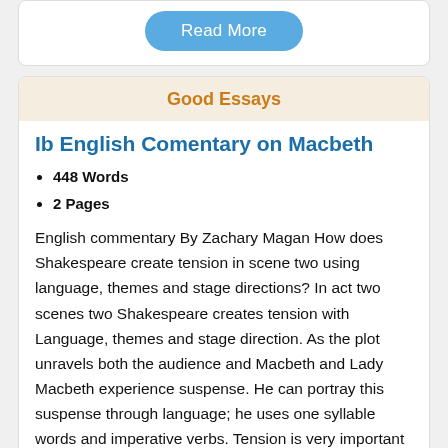[Figure (other): Read More button (blue rounded rectangle)]
Good Essays
Ib English Comentary on Macbeth
448 Words
2 Pages
English commentary By Zachary Magan How does Shakespeare create tension in scene two using language, themes and stage directions? In act two scenes two Shakespeare creates tension with Language, themes and stage direction. As the plot unravels both the audience and Macbeth and Lady Macbeth experience suspense. He can portray this suspense through language; he uses one syllable words and imperative verbs. Tension is very important in act two scene two because it portrays the full effect the